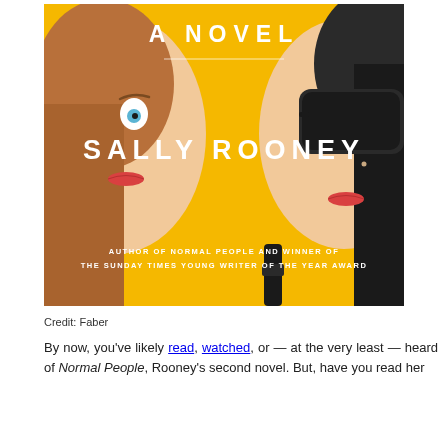[Figure (illustration): Book cover illustration showing two stylized female faces on a yellow background. Text reads 'A NOVEL' at top, 'SALLY ROONEY' in large letters in the middle, and 'AUTHOR OF NORMAL PEOPLE AND WINNER OF THE SUNDAY TIMES YOUNG WRITER OF THE YEAR AWARD' at the bottom. One face has blue eyes and red lips, the other wears dark sunglasses and has red lips.]
Credit: Faber
By now, you've likely read, watched, or — at the very least — heard of Normal People, Rooney's second novel. But, have you read her